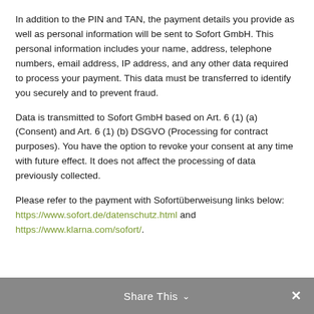In addition to the PIN and TAN, the payment details you provide as well as personal information will be sent to Sofort GmbH. This personal information includes your name, address, telephone numbers, email address, IP address, and any other data required to process your payment. This data must be transferred to identify you securely and to prevent fraud.
Data is transmitted to Sofort GmbH based on Art. 6 (1) (a) (Consent) and Art. 6 (1) (b) DSGVO (Processing for contract purposes). You have the option to revoke your consent at any time with future effect. It does not affect the processing of data previously collected.
Please refer to the payment with Sofortüberweisung links below: https://www.sofort.de/datenschutz.html and https://www.klarna.com/sofort/.
Share This ∨  ✕